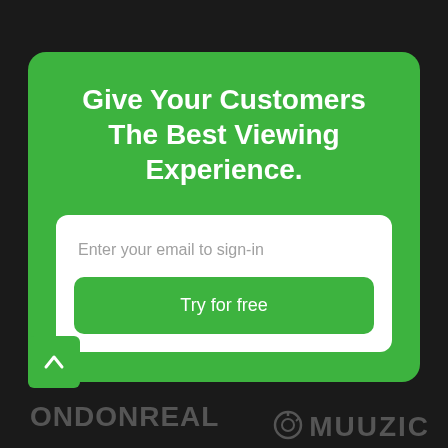Give Your Customers The Best Viewing Experience.
Enter your email to sign-in
Try for free
[Figure (logo): Scroll-to-top button with upward arrow chevron on green background]
ONDONREAL   MUUZIC